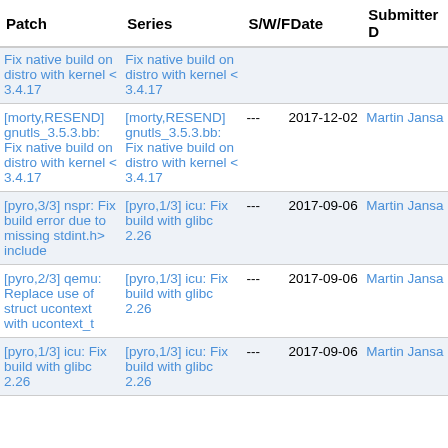| Patch | Series | S/W/F | Date | Submitter D |
| --- | --- | --- | --- | --- |
| Fix native build on distro with kernel < 3.4.17 | Fix native build on distro with kernel < 3.4.17 |  |  |  |
| [morty,RESEND] gnutls_3.5.3.bb: Fix native build on distro with kernel < 3.4.17 | [morty,RESEND] gnutls_3.5.3.bb: Fix native build on distro with kernel < 3.4.17 | --- | 2017-12-02 | Martin Jansa |
| [pyro,3/3] nspr: Fix build error due to missing stdint.h> include | [pyro,1/3] icu: Fix build with glibc 2.26 | --- | 2017-09-06 | Martin Jansa |
| [pyro,2/3] qemu: Replace use of struct ucontext with ucontext_t | [pyro,1/3] icu: Fix build with glibc 2.26 | --- | 2017-09-06 | Martin Jansa |
| [pyro,1/3] icu: Fix build with glibc 2.26 | [pyro,1/3] icu: Fix build with glibc 2.26 | --- | 2017-09-06 | Martin Jansa |